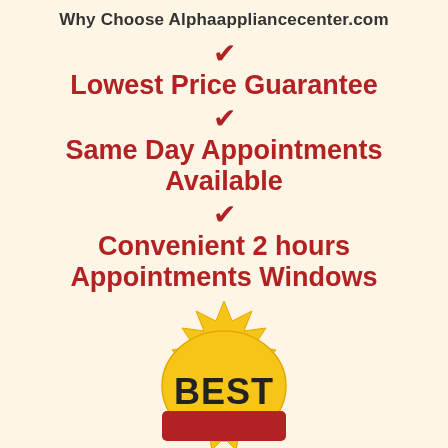Why Choose Alphaappliancecenter.com
✓ Lowest Price Guarantee
✓ Same Day Appointments Available
✓ Convenient 2 hours Appointments Windows
[Figure (illustration): Gold starburst badge with 'BEST' text in bold dark letters, partially visible at bottom of page]